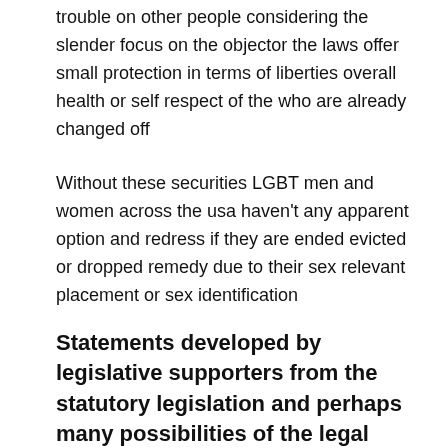trouble on other people considering the slender focus on the objector the laws offer small protection in terms of liberties overall health or self respect of the who are already changed off
Without these securities LGBT men and women across the usa haven't any apparent option and redress if they are ended evicted or dropped remedy due to their sex relevant placement or sex identification
Statements developed by legislative supporters from the statutory legislation and perhaps many possibilities of the legal guidelines themselves
moreover explain that they make an effort to rebel against existing benefits toward LGBT equality in order to dilute the liberties of LGBT visitors to secure security from invidious discrimination They distribute an indication that state governing